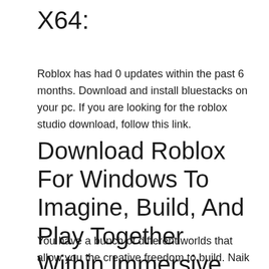X64:
Roblox has had 0 updates within the past 6 months. Download and install bluestacks on your pc. If you are looking for the roblox studio download, follow this link.
Download Roblox For Windows To Imagine, Build, And Play Together Within Immersive 3D Worlds.
You have a bunch of different worlds that allow you the creative freedom to build. Naik level lebih cepat, mainkan lebih banyak. Sign